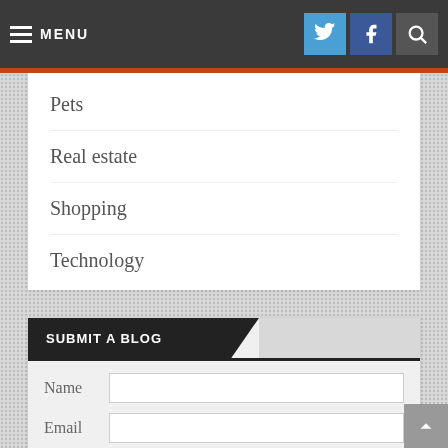MENU
Pets
Real estate
Shopping
Technology
SUBMIT A BLOG
Name
Email
Category
Target URL